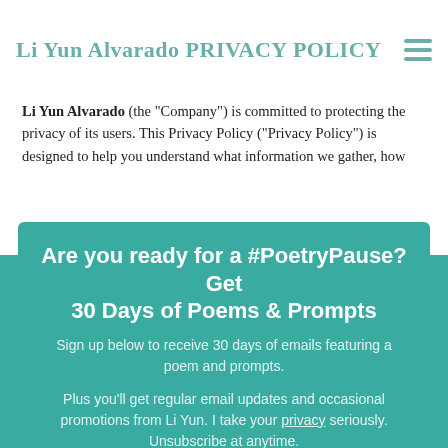Li Yun Alvarado PRIVACY POLICY
Li Yun Alvarado (the “Company”) is committed to protecting the privacy of its users. This Privacy Policy (“Privacy Policy”) is designed to help you understand what information we gather, how
Are you ready for a #PoetryPause? Get 30 Days of Poems & Prompts
Sign up below to receive 30 days of emails featuring a poem and prompts.
Plus you’ll get regular email updates and occasional promotions from Li Yun. I take your privacy seriously. Unsubscribe at anytime.
Email *
First Name
I'M READY FOR A #POETRYPAUSE